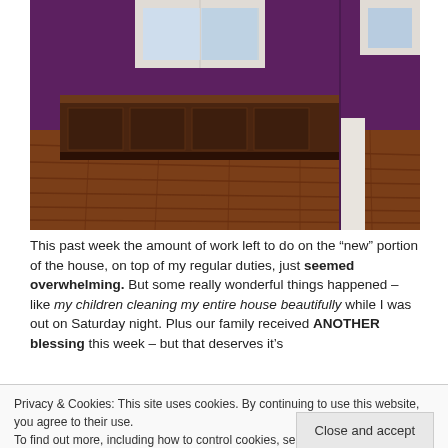[Figure (photo): Interior room photo showing wooden built-in cabinetry/bench along a purple wall, hardwood floors, and a window with white trim]
This past week the amount of work left to do on the “new” portion of the house, on top of my regular duties, just seemed overwhelming. But some really wonderful things happened – like my children cleaning my entire house beautifully while I was out on Saturday night. Plus our family received ANOTHER blessing this week – but that deserves it’s
Privacy & Cookies: This site uses cookies. By continuing to use this website, you agree to their use.
To find out more, including how to control cookies, see here: Cookie Policy
Close and accept